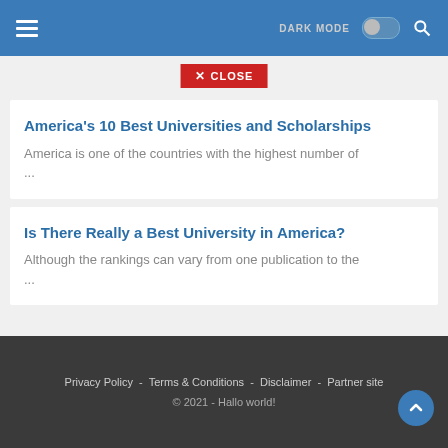DARK MODE | [hamburger menu] | [search]
America's 10 Best Universities and Scholarships
America is one of the countries with the highest number of ...
Is There Really a Best University in America?
Although the rankings can vary from one publication to the ...
Privacy Policy - Terms & Conditions - Disclaimer - Partner site | © 2021 - Hallo world!